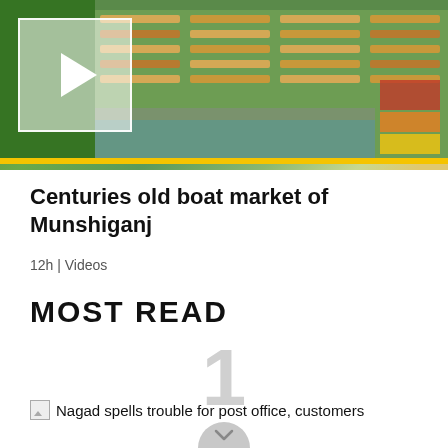[Figure (photo): Aerial view of a boat market with many wooden boats arranged in rows, with a play button overlay indicating a video thumbnail. Yellow bar at bottom.]
Centuries old boat market of Munshiganj
12h | Videos
MOST READ
1
Nagad spells trouble for post office, customers